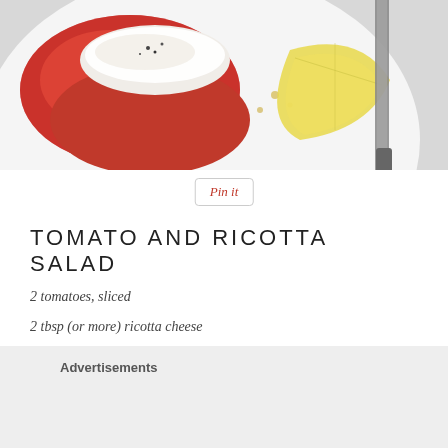[Figure (photo): Top-down photo of a white plate with sliced tomatoes topped with ricotta cheese, a lemon wedge, and a knife on the right side. Food photography with white background.]
[Figure (other): Pin it button with red italic text inside a light gray rounded rectangle border]
TOMATO AND RICOTTA SALAD
2 tomatoes, sliced
2 tbsp (or more) ricotta cheese
2 tsp Chipotle Olive Oil *
Advertisements